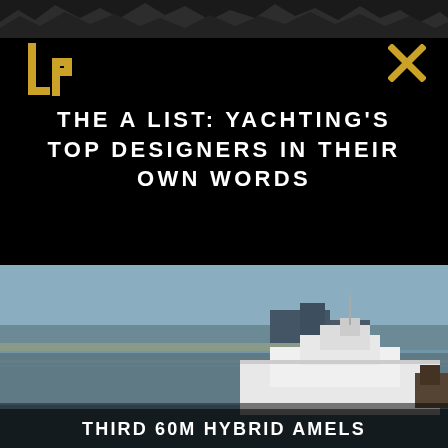[Figure (photo): Dark rocky/snowy mountain skyline strip at top of page]
[Figure (logo): Gold stylized 'lp' logo on black background]
[Figure (other): Gold X close icon on black background]
THE A LIST: YACHTING'S TOP DESIGNERS IN THEIR OWN WORDS
[Figure (photo): Aerial/harbour view of a large white modern superyacht in a port with industrial buildings and flat coastal landscape in background]
THIRD 60M HYBRID AMELS